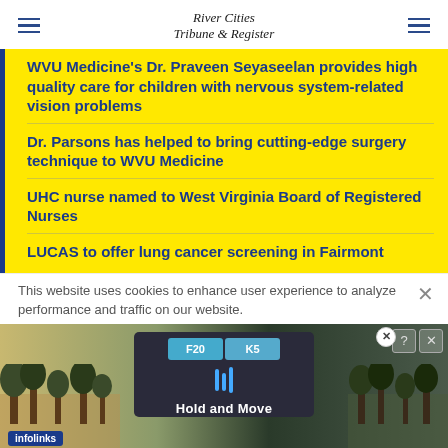River Cities Tribune & Register
WVU Medicine's Dr. Praveen Seyaseelan provides high quality care for children with nervous system-related vision problems
Dr. Parsons has helped to bring cutting-edge surgery technique to WVU Medicine
UHC nurse named to West Virginia Board of Registered Nurses
LUCAS to offer lung cancer screening in Fairmont
This website uses cookies to enhance user experience to analyze performance and traffic on our website.
[Figure (screenshot): Advertisement banner showing a road navigation app screenshot with 'Hold and Move' text, trees in background. Infolinks badge visible.]